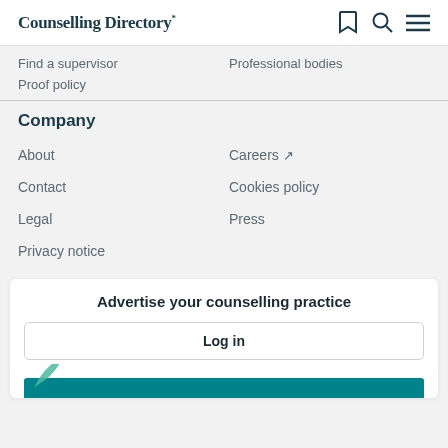Counselling Directory
Find a supervisor
Professional bodies
Proof policy
Company
About
Careers
Contact
Cookies policy
Legal
Press
Privacy notice
Advertise your counselling practice
Log in